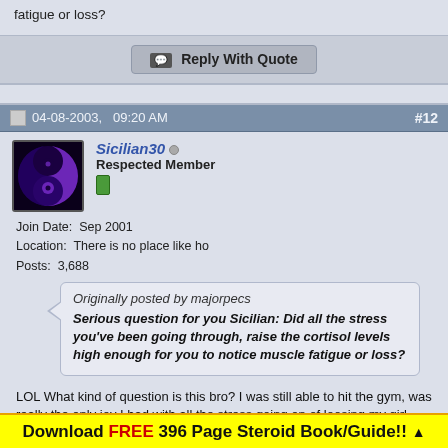fatigue or loss?
Reply With Quote
04-08-2003,  09:20 AM  #12
Sicilian30
Respected Member
Join Date: Sep 2001
Location: There is no place like ho
Posts: 3,688
Originally posted by majorpecs
Serious question for you Sicilian: Did all the stress you've been going through, raise the cortisol levels high enough for you to notice muscle fatigue or loss?
LOL What kind of question is this bro? I was still able to hit the gym, was really the only joy I had with all the stress going on of loosing my girl and
Download FREE 396 Page Steroid Book/Guide!! ▲